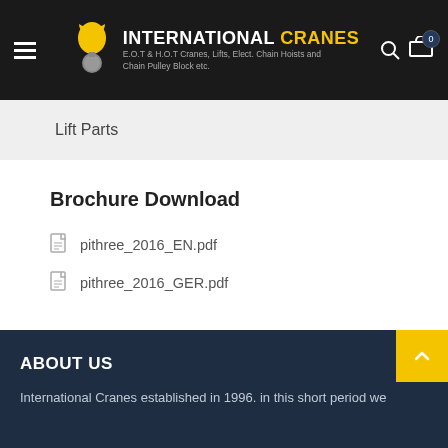INTERNATIONAL CRANES — E.O.T & H.O.T Cranes, Lifts, Elect. Chain Hoists and Chain Pulley Block etc.
Lift Parts
Brochure Download
pithree_2016_EN.pdf
pithree_2016_GER.pdf
ABOUT US
International Cranes established in 1996. in this short period we